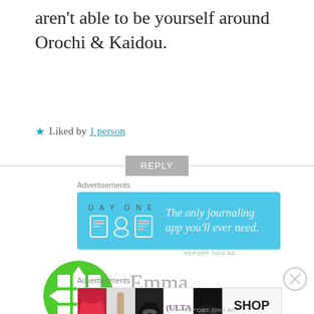aren't able to be yourself around Orochi & Kaidou.
★ Liked by 1 person
REPLY
Advertisements
[Figure (illustration): Day One journaling app advertisement with blue background, app icons and text 'The only journaling app you'll ever need.']
REPORT THIS AD
Emma
16 MARCH, 2020 AT 1:05 AM
[Figure (illustration): Green circular avatar with hashtag-like grid pattern and arrows]
Advertisements
[Figure (illustration): Ulta Beauty advertisement showing makeup product images and 'SHOP NOW' button]
REPORT THIS AD